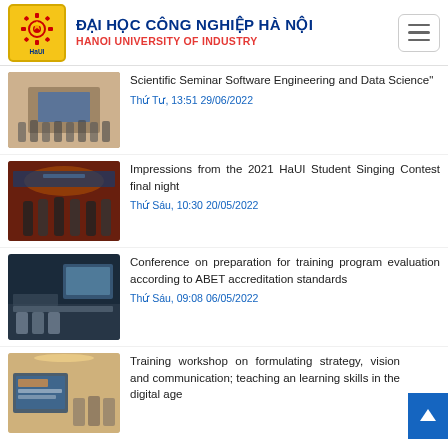[Figure (logo): Hanoi University of Industry logo - yellow square with gear emblem]
ĐẠI HỌC CÔNG NGHIỆP HÀ NỘI
HANOI UNIVERSITY OF INDUSTRY
Scientific Seminar Software Engineering and Data Science"
Thứ Tư, 13:51 29/06/2022
Impressions from the 2021 HaUI Student Singing Contest final night
Thứ Sáu, 10:30 20/05/2022
Conference on preparation for training program evaluation according to ABET accreditation standards
Thứ Sáu, 09:08 06/05/2022
Training workshop on formulating strategy, vision and communication; teaching and learning skills in the digital age